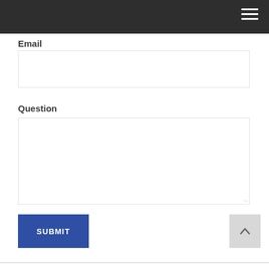[Figure (screenshot): Dark navigation bar at top with hamburger menu icon (three white lines) on the right side]
Email
[Figure (screenshot): Empty email input text field with light grey border]
Question
[Figure (screenshot): Empty textarea for question input with light grey border and resize handle]
[Figure (screenshot): Blue SUBMIT button and grey scroll-to-top arrow button]